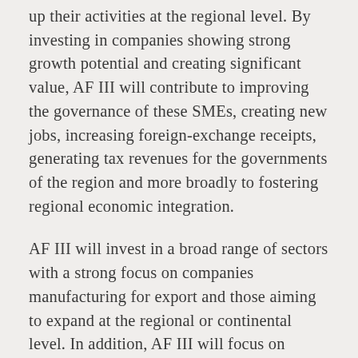up their activities at the regional level. By investing in companies showing strong growth potential and creating significant value, AF III will contribute to improving the governance of these SMEs, creating new jobs, increasing foreign-exchange receipts, generating tax revenues for the governments of the region and more broadly to fostering regional economic integration.
AF III will invest in a broad range of sectors with a strong focus on companies manufacturing for export and those aiming to expand at the regional or continental level. In addition, AF III will focus on promoting environmental, social and governance best practices in its portfolio companies. Targeted investments will include sectors such as IT and telecoms, FMCG, services, health, education,